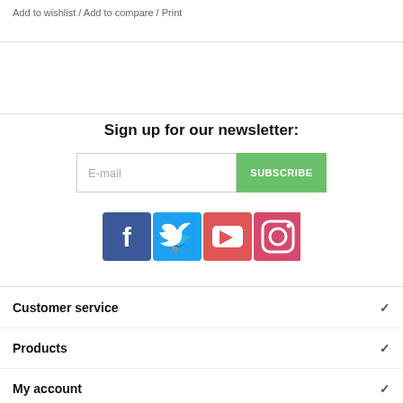Add to wishlist / Add to compare / Print
Sign up for our newsletter:
[Figure (screenshot): Newsletter signup form with E-mail input field and green SUBSCRIBE button]
[Figure (infographic): Social media icons: Facebook (dark blue), Twitter (light blue), YouTube (red), Instagram (pink/red gradient)]
Customer service
Products
My account